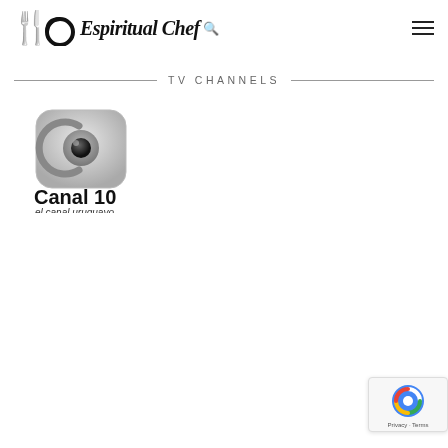[Figure (logo): Espiritual Chef logo with fork/spoon icon and stylized cursive text, plus search icon]
[Figure (logo): Hamburger menu icon (three horizontal lines)]
TV CHANNELS
[Figure (logo): Canal 10 - el canal uruguayo logo: rounded square TV icon with eye/C symbol in grey, bold 'Canal 10' text below, italic 'el canal uruguayo' subtitle]
[Figure (logo): reCAPTCHA badge with Google reCAPTCHA icon and 'Privacy - Terms' text]